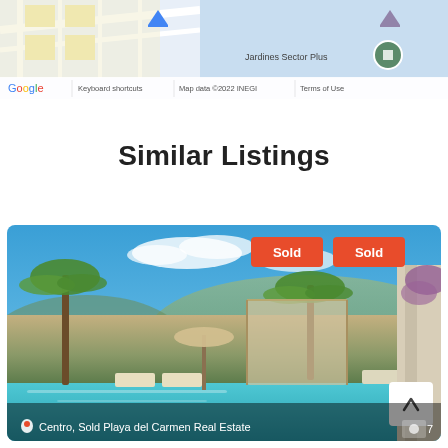[Figure (map): Google Maps screenshot showing a street map area with blue water/land features. Footer bar shows: Google logo, Keyboard shortcuts, Map data ©2022 INEGI, Terms of Use]
Similar Listings
[Figure (photo): Luxury rooftop pool area with palm trees, lounge chairs, cabanas, and blue sky. Two orange 'Sold' badges in top right corner. Scroll-to-top button in bottom right.]
Centro, Sold Playa del Carmen Real Estate
7